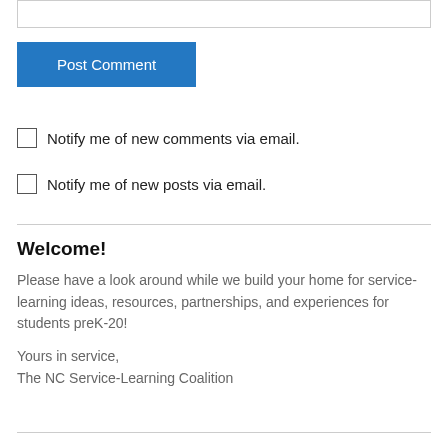[Figure (screenshot): Empty text input box at top of page]
Post Comment
Notify me of new comments via email.
Notify me of new posts via email.
Welcome!
Please have a look around while we build your home for service-learning ideas, resources, partnerships, and experiences for students preK-20!
Yours in service,
The NC Service-Learning Coalition